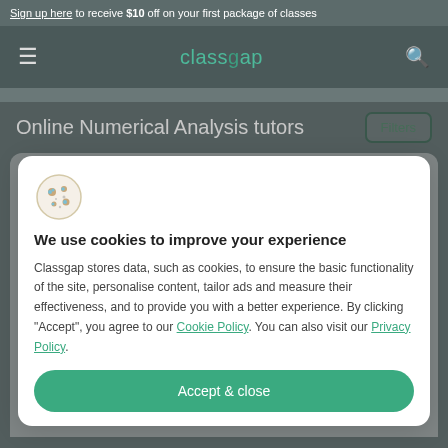Sign up here to receive $10 off on your first package of classes
[Figure (logo): Classgap logo with hamburger menu and search icon in dark teal navbar]
Online Numerical Analysis tutors
[Figure (screenshot): Cookie consent modal overlay on tutors listing page. Modal text: We use cookies to improve your experience. Classgap stores data, such as cookies, to ensure the basic functionality of the site, personalise content, tailor ads and measure their effectiveness, and to provide you with a better experience. By clicking "Accept", you agree to our Cookie Policy. You can also visit our Privacy Policy. Accept & close button.]
We use cookies to improve your experience
Classgap stores data, such as cookies, to ensure the basic functionality of the site, personalise content, tailor ads and measure their effectiveness, and to provide you with a better experience. By clicking "Accept", you agree to our Cookie Policy. You can also visit our Privacy Policy.